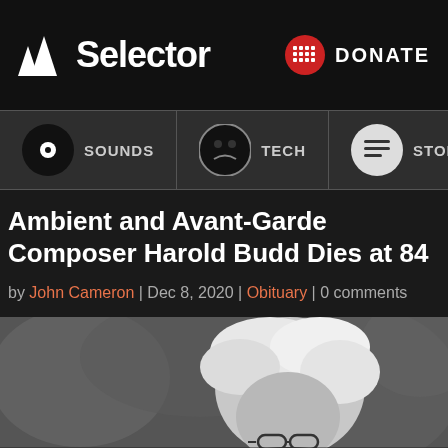Selector — DONATE
SOUNDS | TECH | STORIES
Ambient and Avant-Garde Composer Harold Budd Dies at 84
by John Cameron | Dec 8, 2020 | Obituary | 0 comments
[Figure (photo): Black and white photograph of Harold Budd, an elderly man with white hair wearing glasses, shown from roughly the shoulders up against a blurred background.]